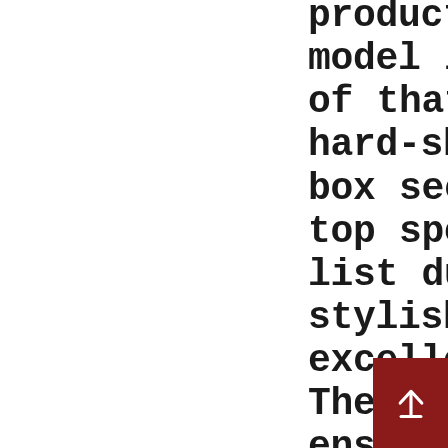products, and this model is exemplary of that. This hard-shell cargo box secures the top spot on this list due to its stylish look and excellent quality. They help to ensure the roof top cargo carrier is mounted securely. How are ratings calculated? Shopping Cart Continue . The bag is suited for carrying most items thank to the large capacity of 15 cubic feet. Pack the heaviest things in the car first, 2. Add to cart. When the bag is not in use, it folds flat for compact